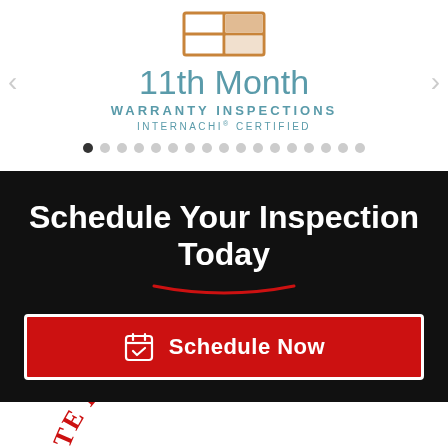[Figure (logo): 11th Month Warranty Inspections InterNACHI Certified logo with house grid icon in brown/orange and teal text]
Schedule Your Inspection Today
[Figure (other): Red Schedule Now button with calendar icon]
[Figure (logo): Complete Home Inspections logo arc text in red at bottom]